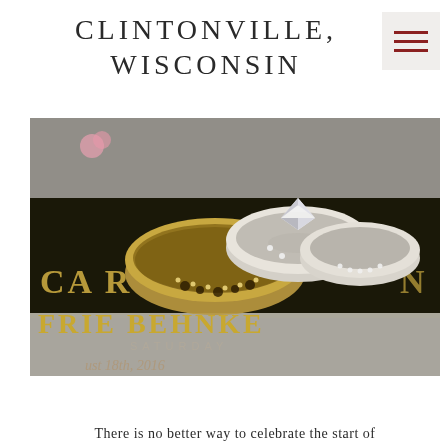CLINTONVILLE, WISCONSIN
[Figure (photo): Close-up photograph of wedding rings — two gold bands with floral/diamond engraving and a diamond engagement ring stacked together, resting on a black wedding program or invitation that reads 'FRIE BEHNKE' and 'SATURDAY' with a date in script.]
There is no better way to celebrate the start of